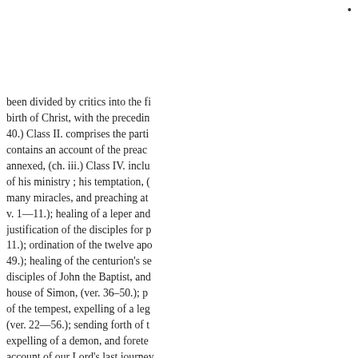been divided by critics into the fi birth of Christ, with the precedin 40.) Class II. comprises the parti contains an account of the preac annexed, (ch. iii.) Class IV. inclu of his ministry ; his temptation, ( many miracles, and preaching at v. 1—11.); healing of a leper and justification of the disciples for p 11.); ordination of the twelve apo 49.); healing of the centurion's se disciples of John the Baptist, and house of Simon, (ver. 36–50.); p of the tempest, expelling of a leg (ver. 22—56.); sending forth of t expelling of a demon, and forete account of our Lord's last journey resurrection, and ascension :-his disciples, and their return, &c. (c of his disciples to pray, reply to t demand a sign, and reproval of t